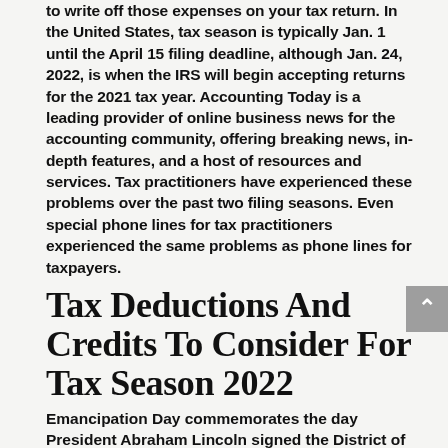to write off those expenses on your tax return. In the United States, tax season is typically Jan. 1 until the April 15 filing deadline, although Jan. 24, 2022, is when the IRS will begin accepting returns for the 2021 tax year. Accounting Today is a leading provider of online business news for the accounting community, offering breaking news, in-depth features, and a host of resources and services. Tax practitioners have experienced these problems over the past two filing seasons. Even special phone lines for tax practitioners experienced the same problems as phone lines for taxpayers.
Tax Deductions And Credits To Consider For Tax Season 2022
Emancipation Day commemorates the day President Abraham Lincoln signed the District of